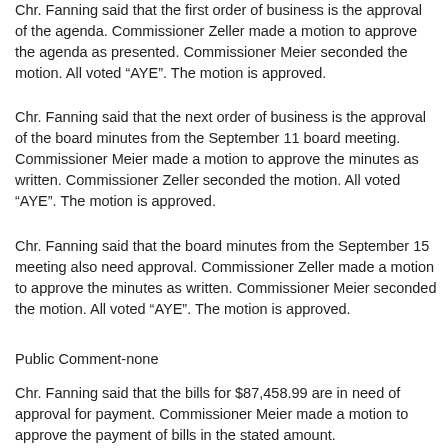Chr. Fanning said that the first order of business is the approval of the agenda. Commissioner Zeller made a motion to approve the agenda as presented. Commissioner Meier seconded the motion. All voted “AYE”. The motion is approved.
Chr. Fanning said that the next order of business is the approval of the board minutes from the September 11 board meeting. Commissioner Meier made a motion to approve the minutes as written. Commissioner Zeller seconded the motion. All voted “AYE”. The motion is approved.
Chr. Fanning said that the board minutes from the September 15 meeting also need approval. Commissioner Zeller made a motion to approve the minutes as written. Commissioner Meier seconded the motion. All voted “AYE”. The motion is approved.
Public Comment-none
Chr. Fanning said that the bills for $87,458.99 are in need of approval for payment. Commissioner Meier made a motion to approve the payment of bills in the stated amount.